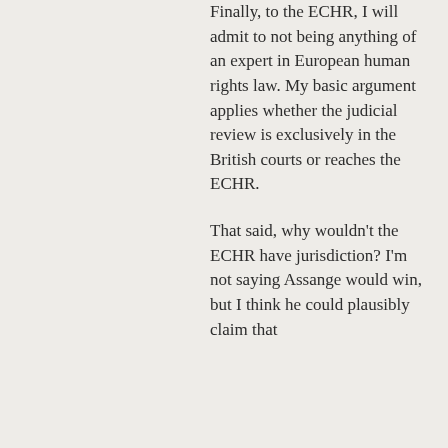Finally, to the ECHR, I will admit to not being anything of an expert in European human rights law. My basic argument applies whether the judicial review is exclusively in the British courts or reaches the ECHR.
That said, why wouldn't the ECHR have jurisdiction? I'm not saying Assange would win, but I think he could plausibly claim that